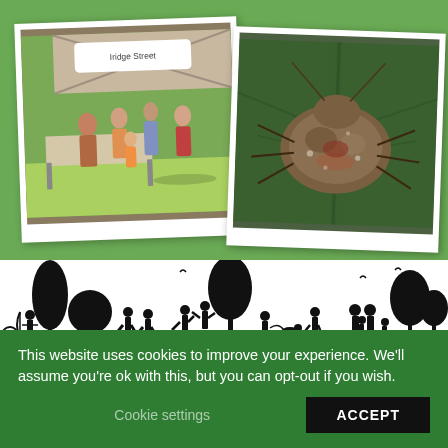[Figure (photo): Polaroid-style photo of an outdoor market or community event with people gathered under a tent canopy on a sunny day]
[Figure (photo): Polaroid-style close-up photo of a brown stink bug (shield bug) on a green leaf]
[Figure (illustration): Black silhouette banner illustration of people doing various outdoor activities (archery, running, playing, dog walking, family walking) among trees, birds, against a white background]
This website uses cookies to improve your experience. We'll assume you're ok with this, but you can opt-out if you wish.
Cookie settings
ACCEPT